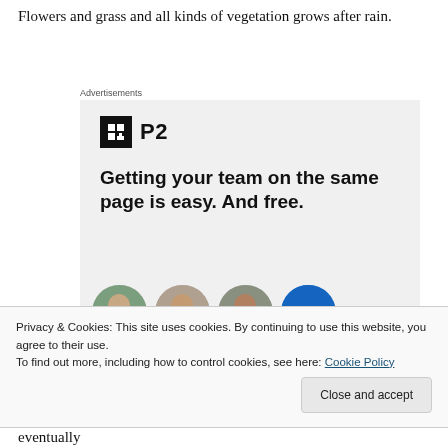Flowers and grass and all kinds of vegetation grows after rain.
[Figure (other): Advertisement banner for P2 product. Shows the P2 logo (black square with white H-like icon and 'P2' text), headline text 'Getting your team on the same page is easy. And free.' and circular avatar photos of team members at the bottom.]
Privacy & Cookies: This site uses cookies. By continuing to use this website, you agree to their use.
To find out more, including how to control cookies, see here: Cookie Policy
eventually